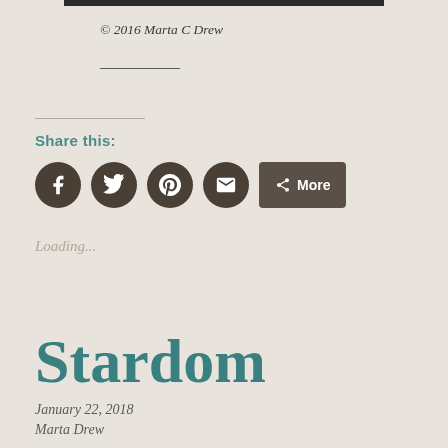[Figure (other): Dark horizontal bar at top of page]
© 2016 Marta C Drew
Share this:
[Figure (other): Social share buttons: Facebook, Twitter, Pinterest, Email icons (dark brown circles) and a More button]
Loading...
Stardom
January 22, 2018
Marta Drew